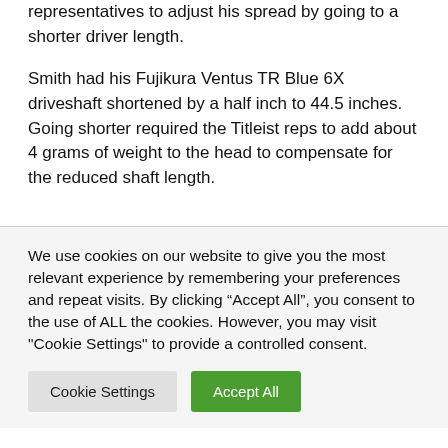representatives to adjust his spread by going to a shorter driver length.
Smith had his Fujikura Ventus TR Blue 6X driveshaft shortened by a half inch to 44.5 inches. Going shorter required the Titleist reps to add about 4 grams of weight to the head to compensate for the reduced shaft length.
We use cookies on our website to give you the most relevant experience by remembering your preferences and repeat visits. By clicking “Accept All”, you consent to the use of ALL the cookies. However, you may visit "Cookie Settings" to provide a controlled consent.